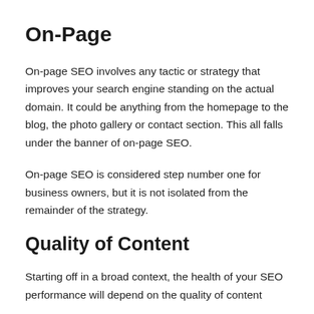On-Page
On-page SEO involves any tactic or strategy that improves your search engine standing on the actual domain. It could be anything from the homepage to the blog, the photo gallery or contact section. This all falls under the banner of on-page SEO.
On-page SEO is considered step number one for business owners, but it is not isolated from the remainder of the strategy.
Quality of Content
Starting off in a broad context, the health of your SEO performance will depend on the quality of content...